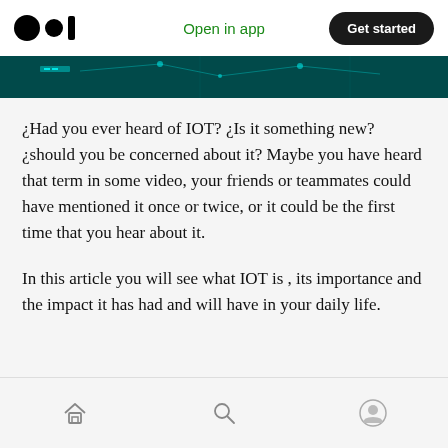Medium app header — Open in app | Get started
[Figure (photo): Partial view of a teal/dark technology-themed banner image with circuit board or digital network visuals]
¿Had you ever heard of IOT? ¿Is it something new? ¿should you be concerned about it? Maybe you have heard that term in some video, your friends or teammates could have mentioned it once or twice, or it could be the first time that you hear about it.
In this article you will see what IOT is , its importance and the impact it has had and will have in your daily life.
Bottom navigation: Home | Search | Profile